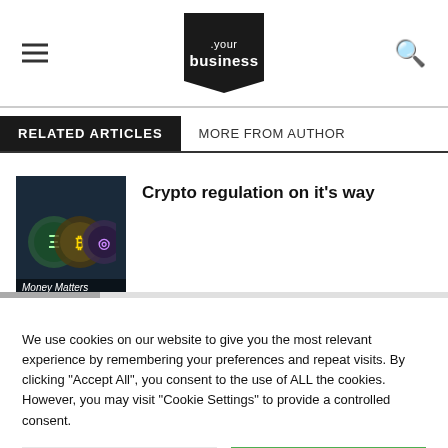.your business
RELATED ARTICLES | MORE FROM AUTHOR
[Figure (photo): Dark photo of cryptocurrency coins with overlay text 'Money Matters']
Crypto regulation on it's way
We use cookies on our website to give you the most relevant experience by remembering your preferences and repeat visits. By clicking "Accept All", you consent to the use of ALL the cookies. However, you may visit "Cookie Settings" to provide a controlled consent.
Cookie Settings | Accept All